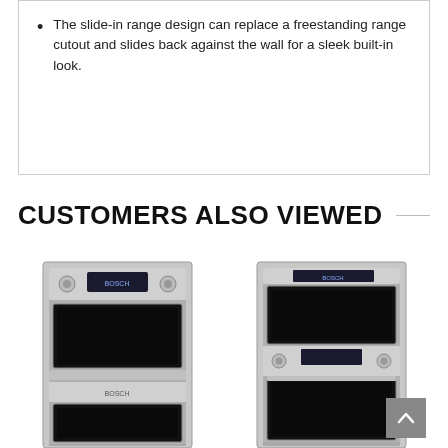The slide-in range design can replace a freestanding range cutout and slides back against the wall for a sleek built-in look.
CUSTOMERS ALSO VIEWED
[Figure (photo): Stainless steel double wall oven appliance product photo]
[Figure (photo): Stainless steel combination microwave wall oven appliance product photo]